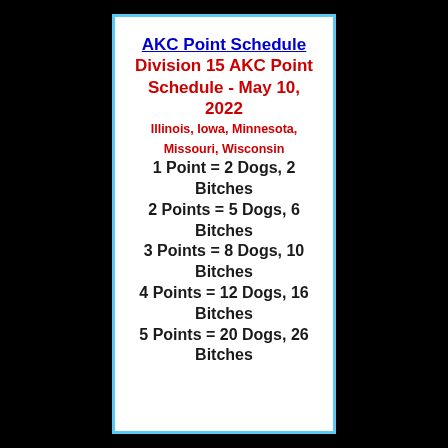AKC Point Schedule
Division 15 AKC Point Schedule - May 10, 2022
Illinois, Iowa, Minnesota, Missouri, Wisconsin
1 Point = 2 Dogs, 2 Bitches
2 Points = 5 Dogs, 6 Bitches
3 Points = 8 Dogs, 10 Bitches
4 Points = 12 Dogs, 16 Bitches
5 Points = 20 Dogs, 26 Bitches